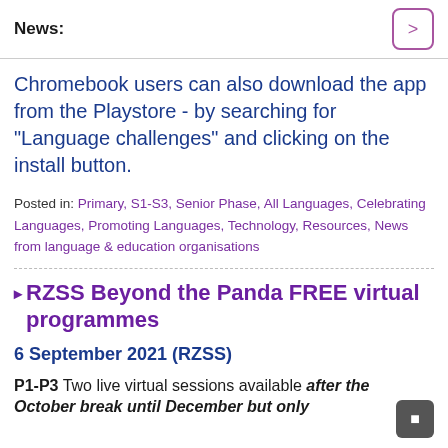News:
Chromebook users can also download the app from the Playstore - by searching for "Language challenges" and clicking on the install button.
Posted in: Primary, S1-S3, Senior Phase, All Languages, Celebrating Languages, Promoting Languages, Technology, Resources, News from language & education organisations
RZSS Beyond the Panda FREE virtual programmes
6 September 2021 (RZSS)
P1-P3 Two live virtual sessions available after the October break until December but only